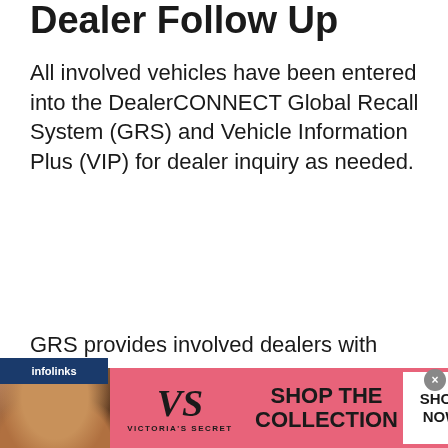Dealer Follow Up
All involved vehicles have been entered into the DealerCONNECT Global Recall System (GRS) and Vehicle Information Plus (VIP) for dealer inquiry as needed.
GRS provides involved dealers with
[Figure (screenshot): Advertisement overlay: Infolinks bar and Victoria's Secret ad banner with model photo, VS logo, 'SHOP THE COLLECTION' text, and 'SHOP NOW' button in pink background]